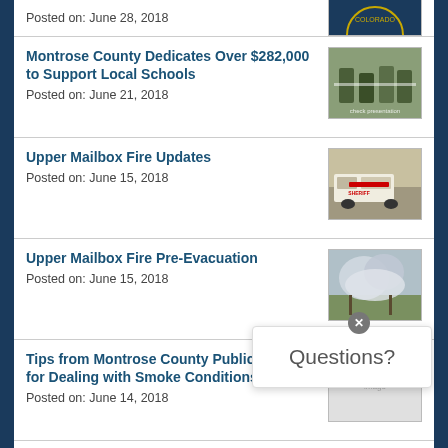Posted on: June 28, 2018
Montrose County Dedicates Over $282,000 to Support Local Schools
Posted on: June 21, 2018
Upper Mailbox Fire Updates
Posted on: June 15, 2018
Upper Mailbox Fire Pre-Evacuation
Posted on: June 15, 2018
Tips from Montrose County Public Health for Dealing with Smoke Conditions
Posted on: June 14, 2018
STAGE 2 FIRE RESTRICTIONS BEGIN JUNE 14
Posted on: June 13, 2018
[Figure (other): Questions? chat widget overlay]